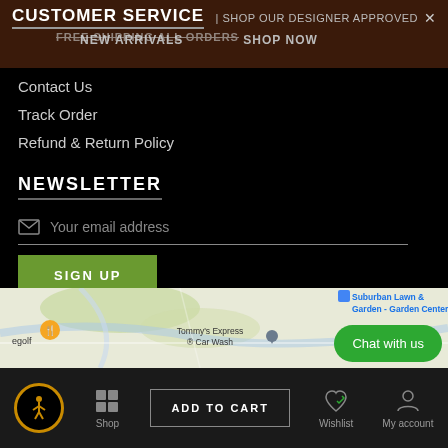CUSTOMER SERVICE | FREE SHIPPING ALL ORDERS | SHOP OUR DESIGNER APPROVED NEW ARRIVALS | SHOP NOW ×
Contact Us
Track Order
Refund & Return Policy
NEWSLETTER
Your email address
SIGN UP
[Figure (map): Google Maps partial screenshot showing local area with markers for Suburban Lawn & Garden - Garden Center, Tommy's Express Car Wash, and a golf location with an orange pin]
Chat with us
ADD TO CART | Shop | Wishlist | My account